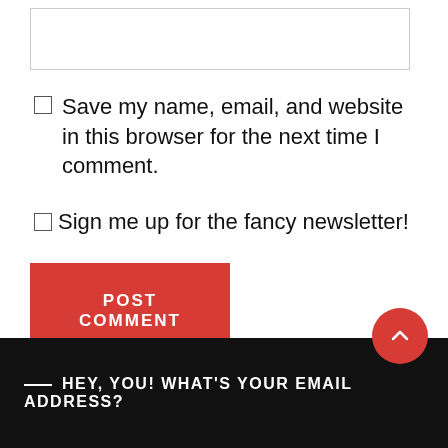Save my name, email, and website in this browser for the next time I comment.
Sign me up for the fancy newsletter!
POST COMMENT
— HEY, YOU! WHAT'S YOUR EMAIL ADDRESS?